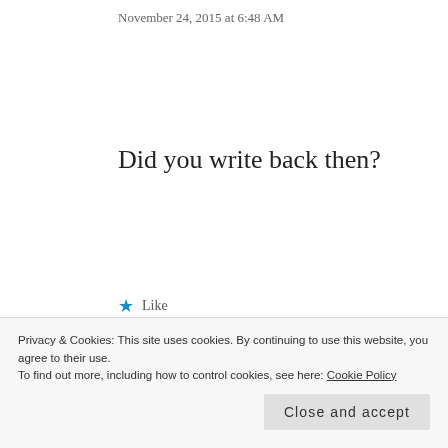November 24, 2015 at 6:48 AM
Did you write back then?
★ Like
Reply
Yes, always.
Privacy & Cookies: This site uses cookies. By continuing to use this website, you agree to their use.
To find out more, including how to control cookies, see here: Cookie Policy
Close and accept